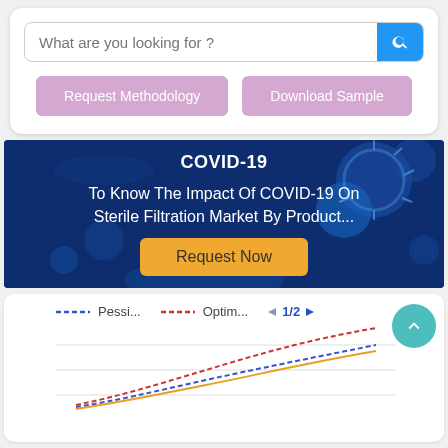[Figure (screenshot): Search bar with placeholder text 'What are you looking for ?' and a blue search button with magnifying glass icon]
Request Methodology
Download Sample
[Figure (infographic): COVID-19 banner on dark blue background with virus imagery. Text: 'COVID-19', 'To Know The Impact Of COVID-19 On Sterile Filtration Market By Product...', with an orange 'Request Now' button]
[Figure (line-chart): Line chart with legend showing Pessimistic (blue dashed), Optimistic (red dashed) lines and navigation controls '1/2'. Y-axis label partially visible (USD). Chart shows upward trending curves.]